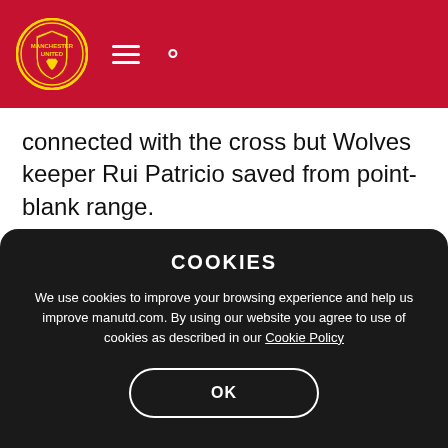Manchester United header with logo, menu and search icons
connected with the cross but Wolves keeper Rui Patricio saved from point-blank range.
It was De Gea who was back in action next when Saiss flicked on a 39th-minute free-kick from Neto and our Spanish no.1 reacted superbly to double-fist away the goalbound effort.
COOKIES
We use cookies to improve your browsing experience and help us improve manutd.com. By using our website you agree to use of cookies as described in our Cookie Policy
OK